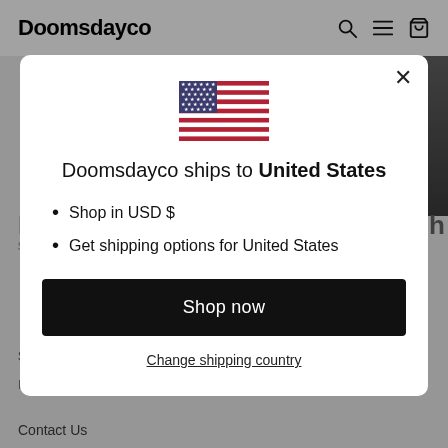Doomsdayco
[Figure (screenshot): E-commerce website modal popup for Doomsdayco showing country/currency selection for United States with US flag, bullet points, Shop now button, and Change shipping country link]
Doomsdayco ships to United States
Shop in USD $
Get shipping options for United States
Shop now
Change shipping country
Contact Us